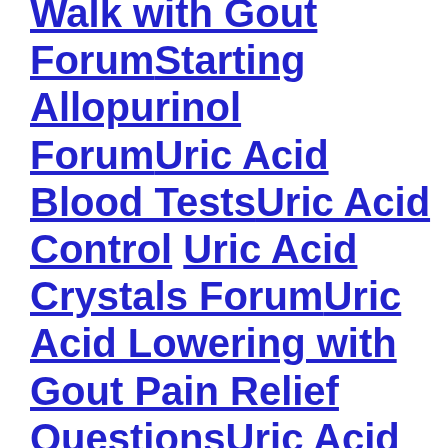Walk with Gout Forum
Starting Allopurinol Forum
Uric Acid Blood Tests
Uric Acid Control
Uric Acid Crystals Forum
Uric Acid Lowering with Gout Pain Relief Questions
Uric Acid Meter Forum
Using GoutPal Forum
Vegan Gout Forum
Vegetarian Gout Forum
Xanthine and Gout Forum